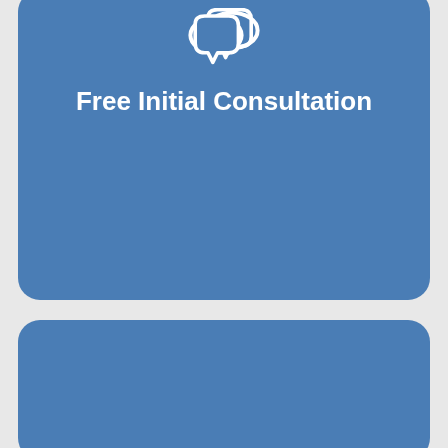[Figure (illustration): White speech bubble / chat icon on blue rounded rectangle card]
Free Initial Consultation
[Figure (illustration): Second blue rounded rectangle card (lower portion, content not visible)]